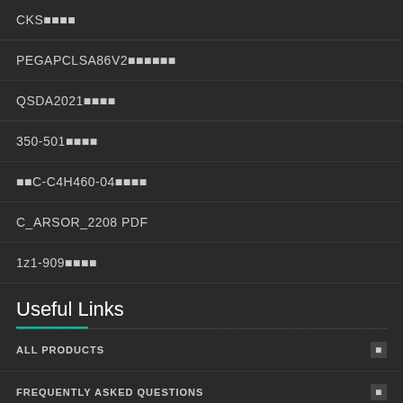CKS■■■■
PEGAPCLSA86V2■■■■■■
QSDA2021■■■■
350-501■■■■
■■C-C4H460-04■■■■
C_ARSOR_2208 PDF
1z1-909■■■■
Useful Links
ALL PRODUCTS
FREQUENTLY ASKED QUESTIONS